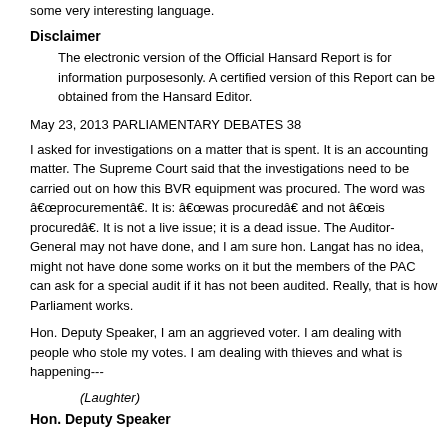some very interesting language.
Disclaimer
The electronic version of the Official Hansard Report is for information purposesonly. A certified version of this Report can be obtained from the Hansard Editor.
May 23, 2013 PARLIAMENTARY DEBATES 38
I asked for investigations on a matter that is spent. It is an accounting matter. The Supreme Court said that the investigations need to be carried out on how this BVR equipment was procured. The word was âprocurementâ. It is: âwas procuredâ and not âis procuredâ. It is not a live issue; it is a dead issue. The Auditor-General may not have done, and I am sure hon. Langat has no idea, might not have done some works on it but the members of the PAC can ask for a special audit if it has not been audited. Really, that is how Parliament works.
Hon. Deputy Speaker, I am an aggrieved voter. I am dealing with people who stole my votes. I am dealing with thieves and what is happening---
(Laughter)
Hon. Deputy Speaker